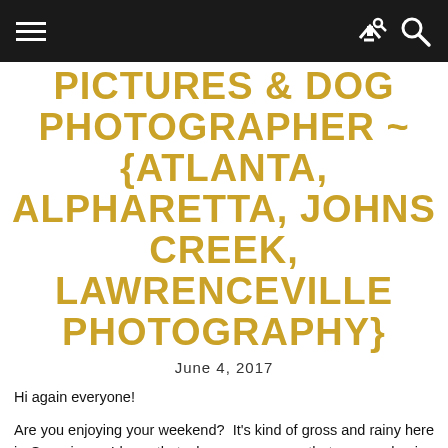PICTURES & DOG PHOTOGRAPHER ~ {ATLANTA, ALPHARETTA, JOHNS CREEK, LAWRENCEVILLE PHOTOGRAPHY}
June 4, 2017
Hi again everyone!
Are you enjoying your weekend?  It's kind of gross and rainy here in Georgia, so I hope that wherever you are, that you are having a great weekend!
If you have been following along, I hinted around last blog post that I had one final outfit of Kendall's to share, so thank you for coming back!